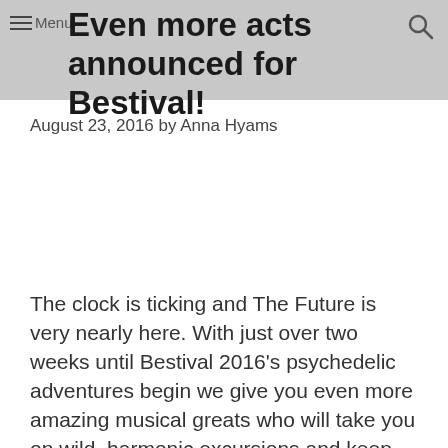Even more acts announced for Bestival!
August 23, 2016 by Anna Hyams
The clock is ticking and The Future is very nearly here. With just over two weeks until Bestival 2016's psychedelic adventures begin we give you even more amazing musical greats who will take you on wild, harmonic excursions and keep you reaching for the lasers long into the night at the